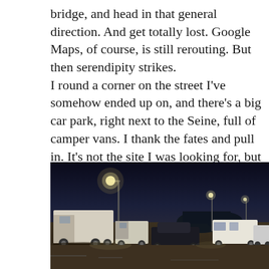bridge, and head in that general direction. And get totally lost. Google Maps, of course, is still rerouting. But then serendipity strikes. I round a corner on the street I've somehow ended up on, and there's a big car park, right next to the Seine, full of camper vans. I thank the fates and pull in. It's not the site I was looking for, but it'll do fine.
[Figure (photo): Night-time photo of a car park next to the Seine river, with camper vans and a truck parked under street lights. Dark sky visible in the background.]